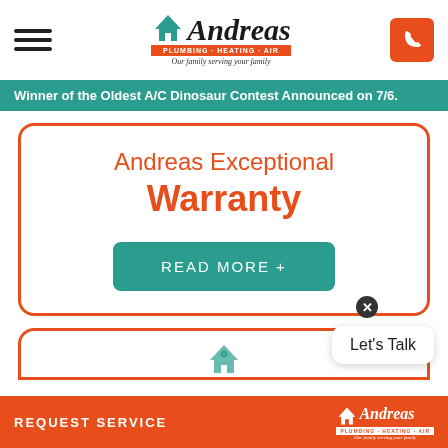Andreas Plumbing Heating Air — Our family serving your family
Winner of the Oldest A/C Dinosaur Contest Announced on 7/6.
Andreas Exceptional Warranty
READ MORE +
[Figure (logo): Andreas Plumbing Heating Air logo partial second card]
REQUEST SERVICE — Andreas Plumbing Heating Air logo